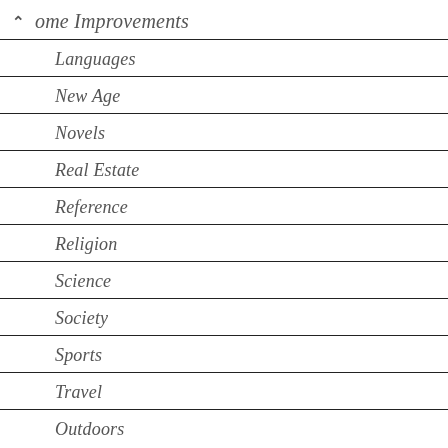Home Improvements
Languages
New Age
Novels
Real Estate
Reference
Religion
Science
Society
Sports
Travel
Outdoors